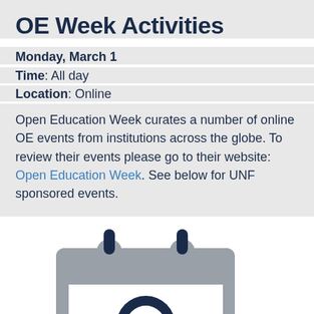OE Week Activities
Monday, March 1
Time: All day
Location: Online
Open Education Week curates a number of online OE events from institutions across the globe. To review their events please go to their website: Open Education Week. See below for UNF sponsored events.
[Figure (illustration): A grey calendar icon with dark navy binding rings at the top and a dark navy circle/magnifying glass element visible at the bottom of the calendar face.]